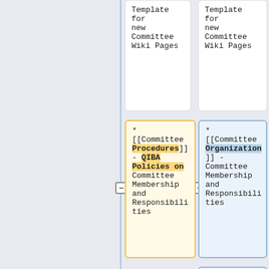Template for new Committee Wiki Pages
Template for new Committee Wiki Pages
* [[Committee Procedures]] - QIBA Policies on Committee Membership and Responsibilities
* [[Committee Organization]] - Committee Membership and Responsibilities
* [https://calendar.google.com/calendar?cid=OGVsYm5dDgzNG7mcY7s